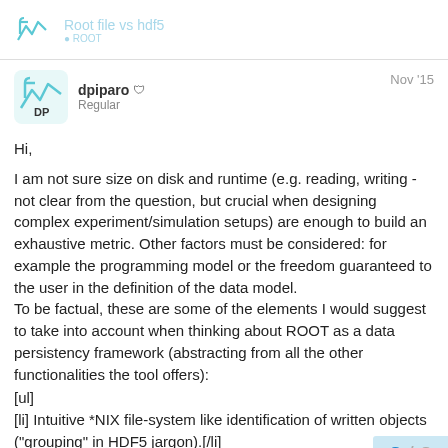Root file vs hdf5
dpiparo  Regular  Nov '15
Hi,
I am not sure size on disk and runtime (e.g. reading, writing - not clear from the question, but crucial when designing complex experiment/simulation setups) are enough to build an exhaustive metric. Other factors must be considered: for example the programming model or the freedom guaranteed to the user in the definition of the data model.
To be factual, these are some of the elements I would suggest to take into account when thinking about ROOT as a data persistency framework (abstracting from all the other functionalities the tool offers):
[ul]
[li] Intuitive *NIX file-system like identification of written objects ("grouping" in HDF5 jargon).[/li]
[li] Possibility of row-wise storage of arbitra